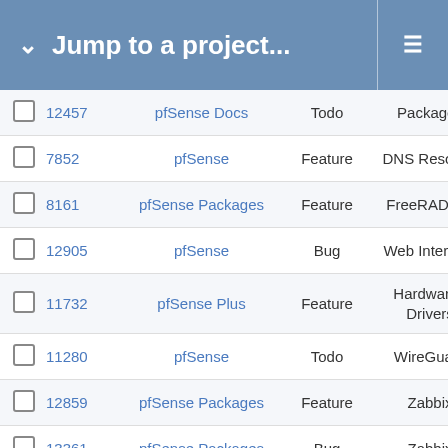Jump to a project...
|  | # | Project | Type | Category |
| --- | --- | --- | --- | --- |
|  | 12457 | pfSense Docs | Todo | Packages |
|  | 7852 | pfSense | Feature | DNS Resolver |
|  | 8161 | pfSense Packages | Feature | FreeRADIUS |
|  | 12905 | pfSense | Bug | Web Interface |
|  | 11732 | pfSense Plus | Feature | Hardware / Drivers |
|  | 11280 | pfSense | Todo | WireGuard |
|  | 12859 | pfSense Packages | Feature | Zabbix |
|  | 13361 | pfSense Packages | Bug | Zabbix |
|  | 10265 | pfSense Packages | Bug | Notes |